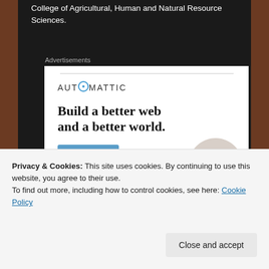College of Agricultural, Human and Natural Resource Sciences.
Advertisements
[Figure (screenshot): Automattic advertisement: 'Build a better web and a better world.' with an Apply button and a circular photo of a person. Automattic logo shown at top of ad.]
Privacy & Cookies: This site uses cookies. By continuing to use this website, you agree to their use.
To find out more, including how to control cookies, see here: Cookie Policy